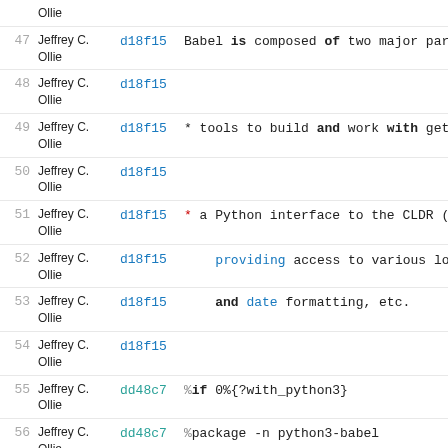| # | Author | Commit | Code |
| --- | --- | --- | --- |
|  | Jeffrey C. Ollie |  |  |
| 47 | Jeffrey C. Ollie | d18f15 | Babel is composed of two major part |
| 48 | Jeffrey C. Ollie | d18f15 |  |
| 49 | Jeffrey C. Ollie | d18f15 | * tools to build and work with gett |
| 50 | Jeffrey C. Ollie | d18f15 |  |
| 51 | Jeffrey C. Ollie | d18f15 | * a Python interface to the CLDR (C |
| 52 | Jeffrey C. Ollie | d18f15 |     providing access to various local |
| 53 | Jeffrey C. Ollie | d18f15 |     and date formatting, etc. |
| 54 | Jeffrey C. Ollie | d18f15 |  |
| 55 | Jeffrey C. Ollie | dd48c7 | %if 0%{?with_python3} |
| 56 | Jeffrey C. Ollie | dd48c7 | %package -n python3-babel |
|  | Jeffrey C. |  |  |